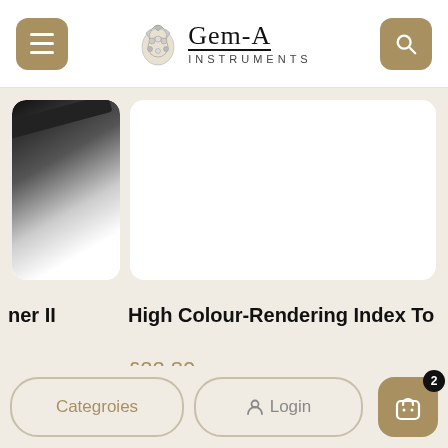Gem-A Instruments
[Figure (screenshot): Two product image cards partially visible — left card shows a dark angled object on white background, right card is mostly white/blank]
ner II
High Colour-Rendering Index To
£22.80
Categroies
Login
2